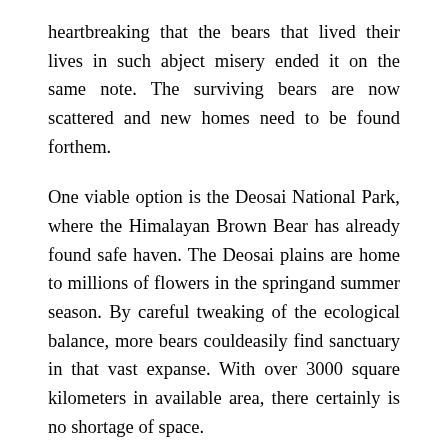heartbreaking that the bears that lived their lives in such abject misery ended it on the same note. The surviving bears are now scattered and new homes need to be found forthem.
One viable option is the Deosai National Park, where the Himalayan Brown Bear has already found safe haven. The Deosai plains are home to millions of flowers in the springand summer season. By careful tweaking of the ecological balance, more bears couldeasily find sanctuary in that vast expanse. With over 3000 square kilometers in available area, there certainly is no shortage of space.
The support of the tribal lords is something that must be ensured to